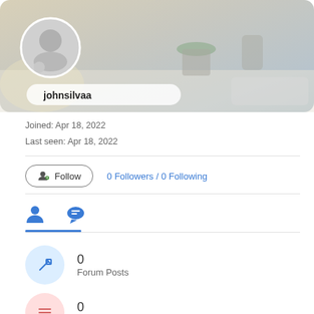[Figure (screenshot): Profile banner with blurred desk/office background, circular avatar placeholder, and username badge]
Joined: Apr 18, 2022
Last seen: Apr 18, 2022
Follow  0 Followers / 0 Following
[Figure (infographic): User profile tabs: person icon (active) and chat/speech bubble icon]
0
Forum Posts
0
Topics
0